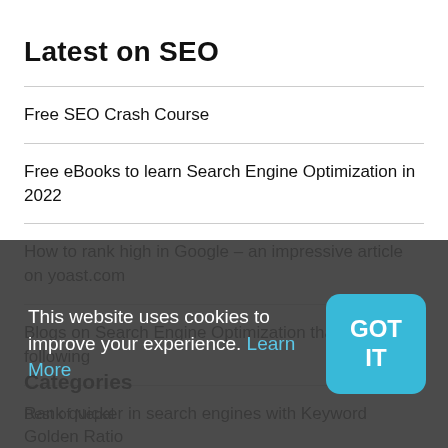Latest on SEO
Free SEO Crash Course
Free eBooks to learn Search Engine Optimization in 2022
How to rank high in Google – an impressive article on yoast.com
Blogs on Search Engine Optimization that are worth following
Rank quicker in search engines with Keyword Golden Ratio
Categories
Best of Nepal
This website uses cookies to improve your experience. Learn More
GOT IT